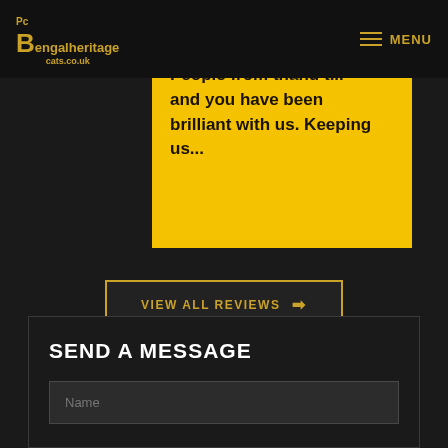Bengalheritage cats.co.uk — MENU
Thank you for sticking by me People from t... and you have been brilliant with us. Keeping us...
VIEW ALL REVIEWS →
SEND A MESSAGE
Name